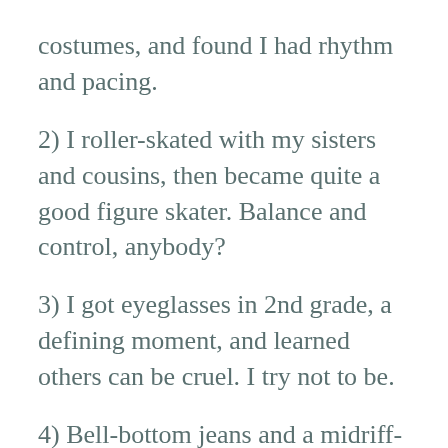costumes, and found I had rhythm and pacing.
2) I roller-skated with my sisters and cousins, then became quite a good figure skater. Balance and control, anybody?
3) I got eyeglasses in 2nd grade, a defining moment, and learned others can be cruel. I try not to be.
4) Bell-bottom jeans and a midriff-baring top caught